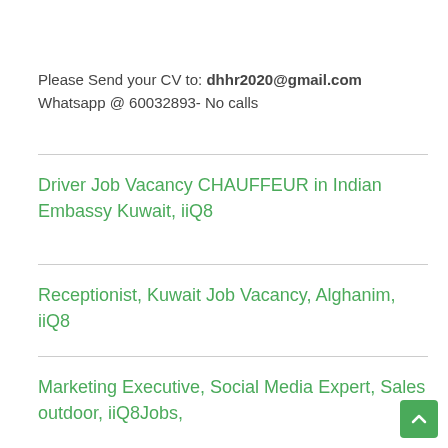Please Send your CV to: dhhr2020@gmail.com
Whatsapp @ 60032893- No calls
Driver Job Vacancy CHAUFFEUR in Indian Embassy Kuwait, iiQ8
Receptionist, Kuwait Job Vacancy, Alghanim, iiQ8
Marketing Executive, Social Media Expert, Sales outdoor, iiQ8Jobs,